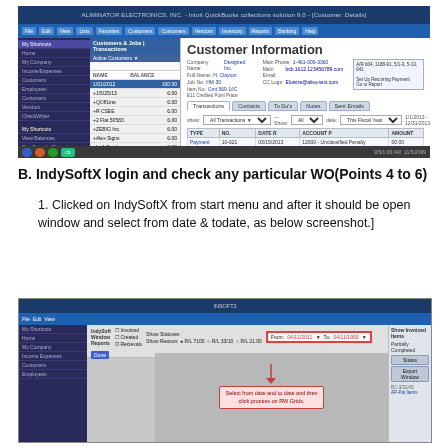[Figure (screenshot): QuickBooks customer information screen showing customer list on left and customer details with transactions on right]
B. IndySoftX login and check any particular WO(Points 4 to 6)
1. Clicked on IndySoftX from start menu and after it should be open window and select from date & todate, as below screenshot.]
[Figure (screenshot): IndySoftX application window showing date range filter with From and To date fields highlighted in red border, and annotation text saying 'select from date and to date and then click process on RW Grids']